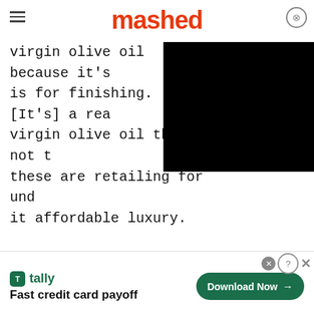mashed
virgin olive oil because it's is for finishing. [It's] a rea virgin olive oil that's not t these are retailing for und it affordable luxury.
[Figure (screenshot): Black video player overlay covering right portion of the article text]
[Figure (screenshot): Advertisement banner for Tally app - Fast credit card payoff with Download Now button]